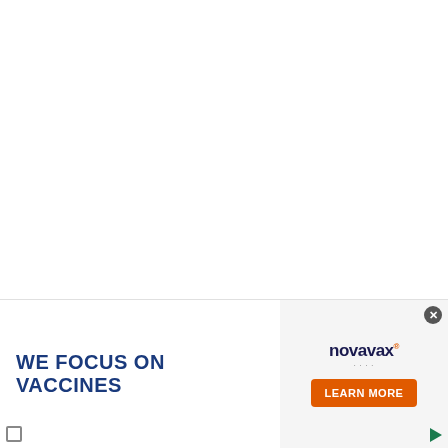Once sautéed add the veggies to your crockpot along with the other ingredients. Cover and cook on low for 2 hours and 45
[Figure (infographic): Advertisement banner for Novavax vaccines. Left side shows bold blue text 'WE FOCUS ON VACCINES' over white background. Center shows photo of scientists in lab coats working at a table viewed from above. Right side shows Novavax logo with orange 'LEARN MORE' button. Close button (X) in top right corner.]